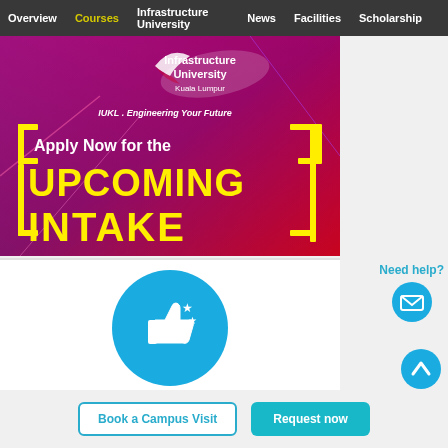Overview | Courses | Infrastructure University | News | Facilities | Scholarship
[Figure (illustration): IUKL (Infrastructure University Kuala Lumpur) promotional banner with colorful background showing 'Apply Now for the UPCOMING INTAKE' text in yellow on a red/magenta background with particle effects and the IUKL logo. Tagline: IUKL . Engineering Your Future]
[Figure (illustration): Blue circular icon with a thumbs-up and stars graphic inside]
Need help?
[Figure (illustration): Blue circular icon with envelope/mail graphic]
[Figure (illustration): Teal circular scroll-to-top button with upward chevron arrow]
Book a Campus Visit
Request now